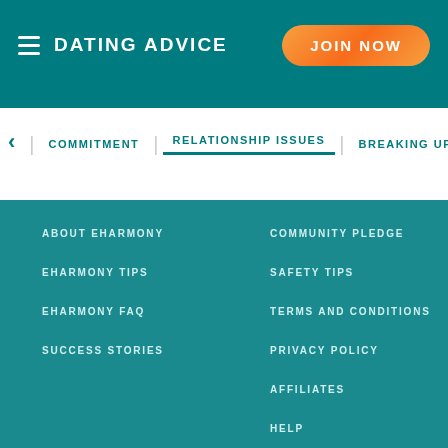DATING ADVICE
JOIN NOW
COMMITMENT
RELATIONSHIP ISSUES
BREAKING UP
ABOUT EHARMONY
COMMUNITY PLEDGE
EHARMONY TIPS
SAFETY TIPS
EHARMONY FAQ
TERMS AND CONDITIONS
SUCCESS STORIES
PRIVACY POLICY
AFFILIATES
HELP